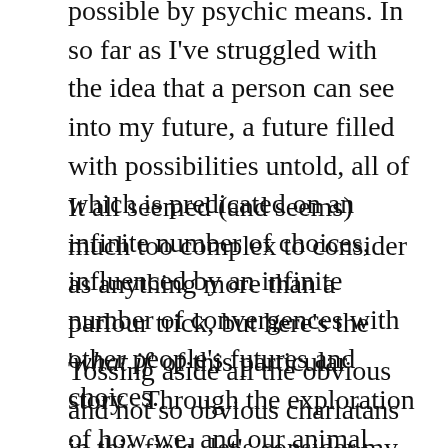possible by psychic means. In so far as I've struggled with the idea that a person can see into my future, a future filled with possibilities untold, all of which is predicated on an infinite number of choices, influenced by an infinite number of convergences with other people's futures and choices.
It all seemed (and seems) much too complex to consider as anything more than a parlour trick, but here's the 'what if' of this particular story.  Through the exploration of how we, and our animal neighbours perceive time, I have been stricken with the idea that the telling of fortunes is not a causal phenomenon, nor is it related to time at all.
Tossing aside all the obvious and not so obvious charlatans in this field, let's consider my good friend Jack's psychic cousin Jill.   If Jill, being of our reality, rather than Jack's, can perceive a continuum of time (a mobius strip for the fourth dimension) to a greater degree than